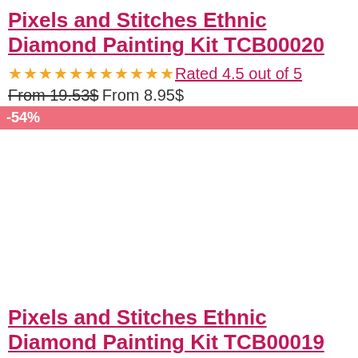Pixels and Stitches Ethnic Diamond Painting Kit TCB00020
★★★★★★★★★★★ Rated 4.5 out of 5
From 19.53$ From 8.95$
-54%
Pixels and Stitches Ethnic Diamond Painting Kit TCB00019